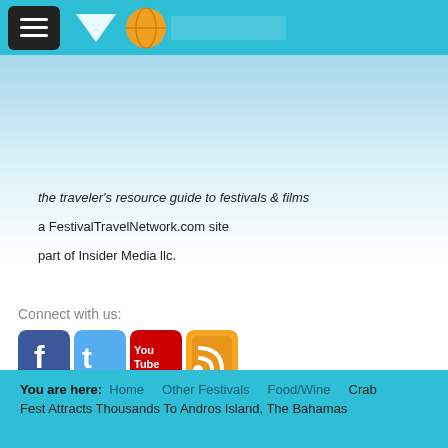[Navigation header with hamburger menu and site logo/globe]
the traveler's resource guide to festivals & films
a FestivalTravelNetwork.com site
part of Insider Media llc.
Connect with us:
[Figure (infographic): Social media icons: Facebook (blue), Twitter (light blue), YouTube (red with You/Tube text), RSS feed (orange)]
Search...
You are here: Home   Other Festivals   Food/Wine   Crab Fest Attracts Thousands To Andros Island, The Bahamas